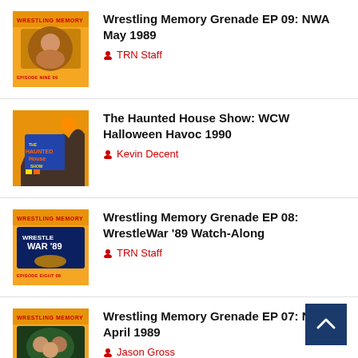Wrestling Memory Grenade EP 09: NWA May 1989 — TRN Staff
The Haunted House Show: WCW Halloween Havoc 1990 — Kevin Decent
Wrestling Memory Grenade EP 08: WrestleWar '89 Watch-Along — TRN Staff
Wrestling Memory Grenade EP 07: NWA April 1989 — Jason Gross